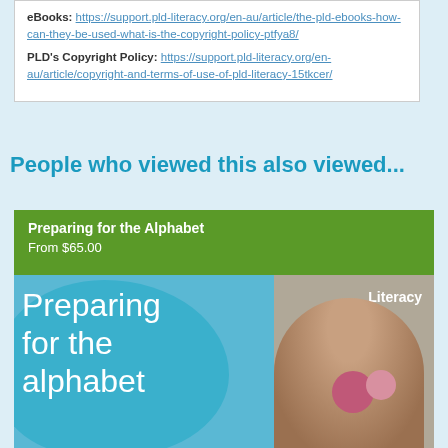eBooks: https://support.pld-literacy.org/en-au/article/the-pld-ebooks-how-can-they-be-used-what-is-the-copyright-policy-ptfya8/
PLD's Copyright Policy: https://support.pld-literacy.org/en-au/article/copyright-and-terms-of-use-of-pld-literacy-15tkcer/
People who viewed this also viewed...
[Figure (photo): Product card for 'Preparing for the Alphabet' book with green background, teal bubble graphic with text 'Preparing for the alphabet', Literacy label, and child reading in the background. Price shown as From $65.00.]